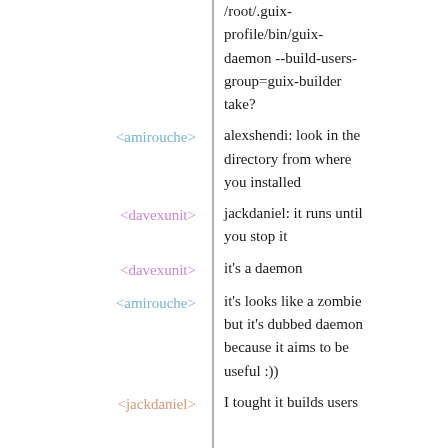/root/.guix-profile/bin/guix-daemon --build-users-group=guix-builder take?
<amirouche>: alexshendi: look in the directory from where you installed
<davexunit>: jackdaniel: it runs until you stop it
<davexunit>: it's a daemon
<amirouche>: it's looks like a zombie but it's dubbed daemon because it aims to be useful :))
<jackdaniel>: I tought it builds users